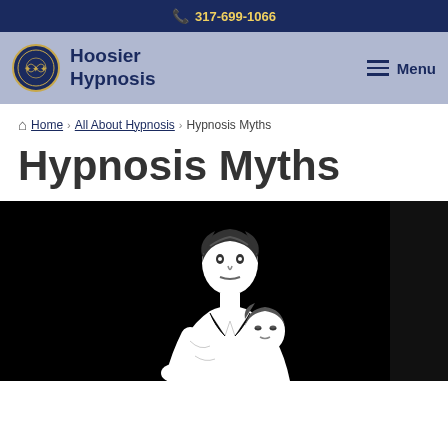317-699-1066
Hoosier Hypnosis  Menu
Home › All About Hypnosis › Hypnosis Myths
Hypnosis Myths
[Figure (illustration): Black and white illustration of a hypnotist figure leaning over a subject, dramatic contrast on black background]